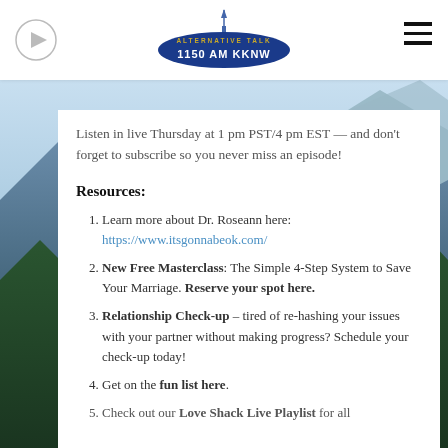[Figure (logo): Alternative Talk 1150 AM KKNW radio station logo with Seattle Space Needle graphic, blue oval shape with gold text]
[Figure (photo): Background scenic photo of mountains and lake with trees (Pacific Northwest landscape)]
Listen in live Thursday at 1 pm PST/4 pm EST — and don't forget to subscribe so you never miss an episode!
Resources:
Learn more about Dr. Roseann here: https://www.itsgonnabeok.com/
New Free Masterclass: The Simple 4-Step System to Save Your Marriage. Reserve your spot here.
Relationship Check-up – tired of re-hashing your issues with your partner without making progress? Schedule your check-up today!
Get on the fun list here.
Check out our Love Shack Live Playlist for all